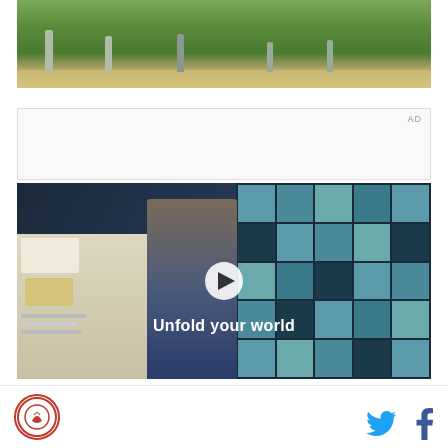[Figure (screenshot): Video player showing a baseball field scene with players on the field]
[Figure (screenshot): Advertisement container with AD label in top right corner]
[Figure (screenshot): Samsung advertisement video player showing a young man in a denim jacket standing in front of a tiled wall with text 'Unfold your world' and a play button overlay]
[Figure (logo): Sports team logo in a red circle at bottom left]
[Figure (screenshot): Social media share icons - Twitter bird icon and Facebook f icon at bottom right]